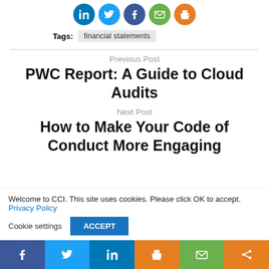[Figure (infographic): Social share icons: LinkedIn, Twitter, Facebook, Email, Print]
Tags: financial statements
Previous Post
PWC Report: A Guide to Cloud Audits
Next Post
How to Make Your Code of Conduct More Engaging
Welcome to CCI. This site uses cookies. Please click OK to accept. Privacy Policy
Cookie settings
ACCEPT
[Figure (infographic): Bottom social share bar: Facebook, Twitter, LinkedIn, Print, Email, Share icons]